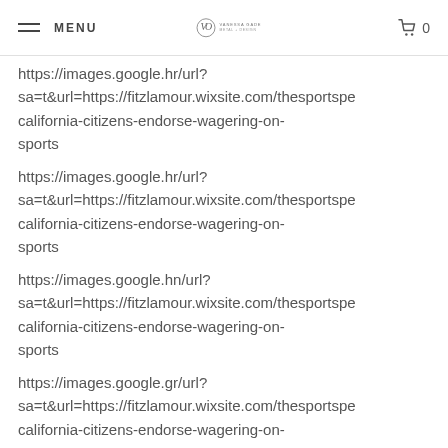MENU | VANESSA GADE METAL + DESIGN | 0
https://images.google.hr/url?
sa=t&url=https://fitzlamour.wixsite.com/thesportspe
california-citizens-endorse-wagering-on-sports
https://images.google.hr/url?
sa=t&url=https://fitzlamour.wixsite.com/thesportspe
california-citizens-endorse-wagering-on-sports
https://images.google.hn/url?
sa=t&url=https://fitzlamour.wixsite.com/thesportspe
california-citizens-endorse-wagering-on-sports
https://images.google.gr/url?
sa=t&url=https://fitzlamour.wixsite.com/thesportspe
california-citizens-endorse-wagering-on-sports